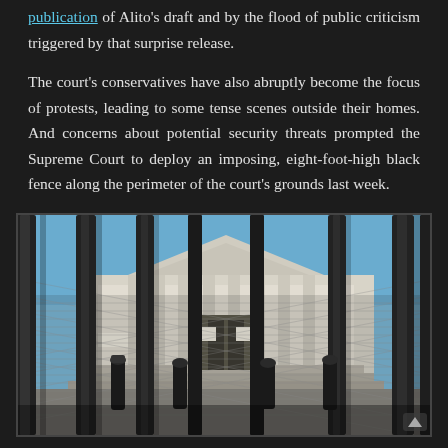publication of Alito's draft and by the flood of public criticism triggered by that surprise release.
The court's conservatives have also abruptly become the focus of protests, leading to some tense scenes outside their homes. And concerns about potential security threats prompted the Supreme Court to deploy an imposing, eight-foot-high black fence along the perimeter of the court's grounds last week.
[Figure (photo): Photograph of the U.S. Supreme Court building viewed through the bars of a tall black security fence. The neoclassical white building with columns and a triangular pediment is visible in the background. The foreground shows thick vertical black fence bars with chain-link fencing panels. A gate with signs is visible in the center, with black bollards on either side. Blue sky above.]